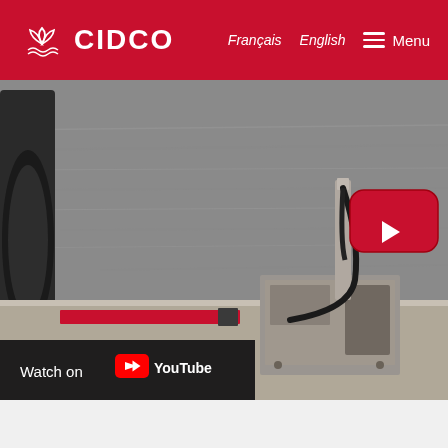CIDCO — Français | English | Menu
[Figure (screenshot): Video thumbnail showing marine survey equipment mounted on a boat hull near water, with a YouTube play button overlay and a 'Watch on YouTube' bar at the bottom.]